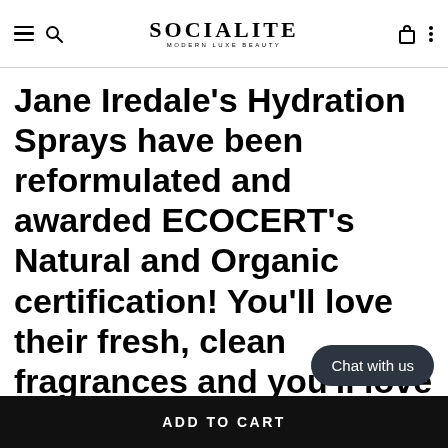SOCIALITE MODERN LUXE BEAUTY
Jane Iredale's Hydration Sprays have been reformulated and awarded ECOCERT's Natural and Organic certification! You'll love their fresh, clean fragrances and you'll love what they do for the health of your skin.
Chat with us
ADD TO CART